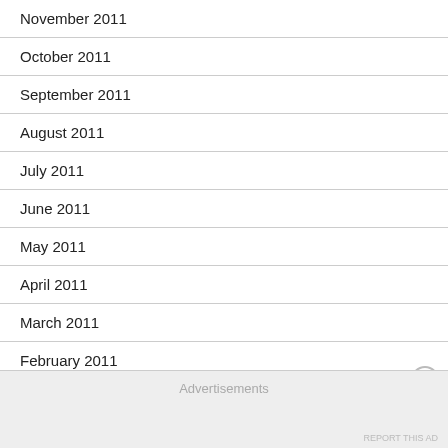November 2011
October 2011
September 2011
August 2011
July 2011
June 2011
May 2011
April 2011
March 2011
February 2011
January 2011
December 2010
Advertisements
REPORT THIS AD